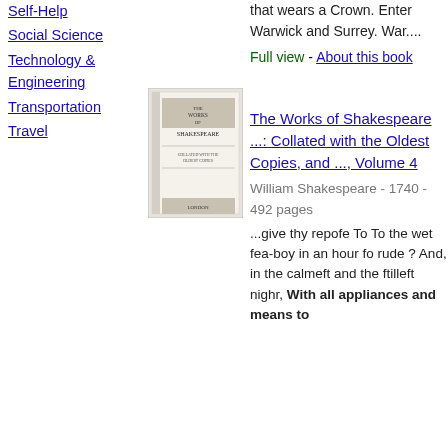Self-Help
Social Science
Technology & Engineering
Transportation
Travel
that wears a Crown. Enter Warwick and Surrey. War....
Full view - About this book
[Figure (photo): Book cover thumbnail for The Works of Shakespeare]
The Works of Shakespeare ...: Collated with the Oldest Copies, and ..., Volume 4
William Shakespeare - 1740 - 492 pages
...give thy repofe To To the wet fea-boy in an hour fo rude ? And, in the calmeft and the ftilleft nighr, With all appliances and means to boot. Permit